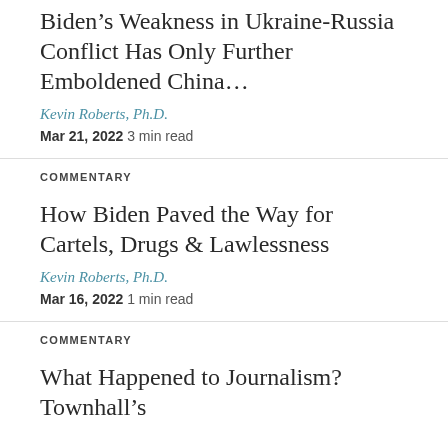Biden’s Weakness in Ukraine-Russia Conflict Has Only Further Emboldened China…
Kevin Roberts, Ph.D.
Mar 21, 2022  3 min read
COMMENTARY
How Biden Paved the Way for Cartels, Drugs & Lawlessness
Kevin Roberts, Ph.D.
Mar 16, 2022  1 min read
COMMENTARY
What Happened to Journalism? Townhall’s